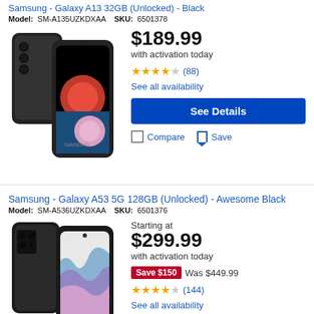Samsung - Galaxy A13 32GB (Unlocked) - Black
Model: SM-A135UZKDXAA  SKU: 6501378
[Figure (photo): Samsung Galaxy A13 smartphone showing front and back, black color with triple rear camera]
$189.99
with activation today
★★★★☆ (88)
See all availability
See Details
Compare  Save
Samsung - Galaxy A53 5G 128GB (Unlocked) - Awesome Black
Model: SM-A536UZKDXAA  SKU: 6501376
[Figure (photo): Samsung Galaxy A53 5G smartphone showing front and back, awesome black color with quad rear camera]
Starting at
$299.99
with activation today
Save $150  Was $449.99
★★★★☆ (144)
See all availability